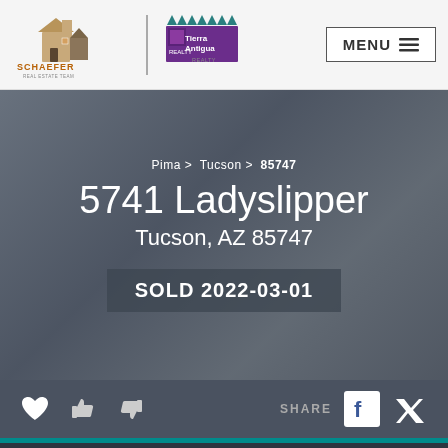Schaefer Real Estate Team | Tierra Antigua Realty | MENU
Pima > Tucson > 85747
5741 Ladyslipper
Tucson, AZ 85747
SOLD 2022-03-01
SHARE